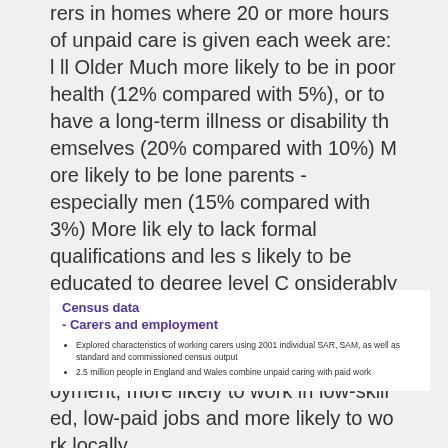rers in homes where 20 or more hours of unpaid care is given each week are: l ll Older Much more likely to be in poor health (12% compared with 5%), or to have a long-term illness or disability themselves (20% compared with 10%) More likely to be lone parents - especially men (15% compared with 3%) More likely to lack formal qualifications and less likely to be educated to degree level Considerably less likely to be in employment – especially if they are women (35% compared with 63%) When in employment, more likely to work in low-skilled, low‑paid jobs and more likely to work locally
Census data - Carers and employment
Explored characteristics of working carers using 2001 individual SAR, SAM, as well as standard and commissioned census output
2.5 million people in England and Wales combine unpaid caring with paid work